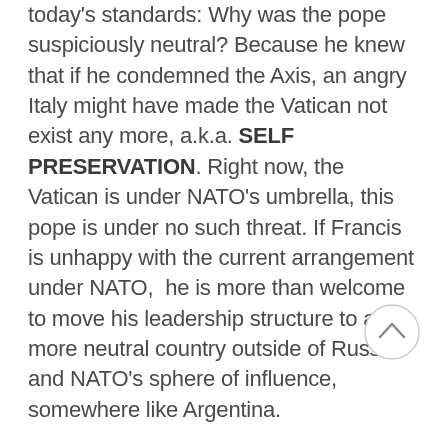today's standards: Why was the pope suspiciously neutral? Because he knew that if he condemned the Axis, an angry Italy might have made the Vatican not exist any more, a.k.a. SELF PRESERVATION. Right now, the Vatican is under NATO's umbrella, this pope is under no such threat. If Francis is unhappy with the current arrangement under NATO, he is more than welcome to move his leadership structure to a more neutral country outside of Russia and NATO's sphere of influence, somewhere like Argentina.
So not only is this pope weak on Theology, he's weak in History.
For the Conspiracy Theorists in the back.